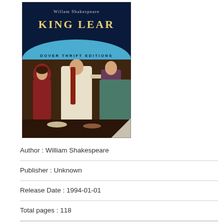[Figure (illustration): Book cover of King Lear by William Shakespeare, Dover Thrift Editions. Dark blue background at top with author name 'Willam Shakespeare' and title 'KING LEAR' in large letters. A light blue arc banner reads 'DOVER THRIFT EDITIONS'. Below is a painting depicting three women in medieval dress, the central figure in white with long red hair, flanked by women in red and teal, with a courtly figure on the right. The bottom-right corner shows a curled page effect.]
Author : William Shakespeare
Publisher : Unknown
Release Date : 1994-01-01
Total pages : 118